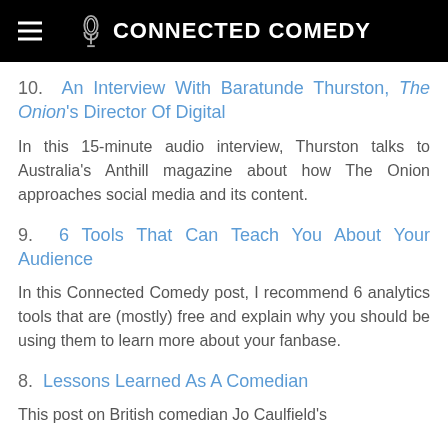CONNECTED COMEDY
10. An Interview With Baratunde Thurston, The Onion's Director Of Digital
In this 15-minute audio interview, Thurston talks to Australia's Anthill magazine about how The Onion approaches social media and its content.
9. 6 Tools That Can Teach You About Your Audience
In this Connected Comedy post, I recommend 6 analytics tools that are (mostly) free and explain why you should be using them to learn more about your fanbase.
8. Lessons Learned As A Comedian
This post on British comedian Jo Caulfield's